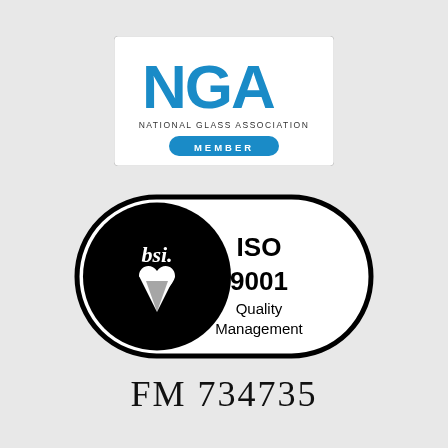[Figure (logo): NGA National Glass Association Member logo with blue NGA letters, text 'NATIONAL GLASS ASSOCIATION' and a blue pill-shaped badge with 'MEMBER' in white]
[Figure (logo): BSI ISO 9001 Quality Management certification mark — pill-shaped outline containing a black circle with 'bsi.' text and a heart-diamond symbol on the left, and 'ISO 9001 Quality Management' text on the right]
FM 734735